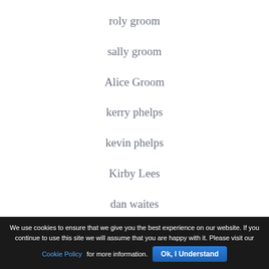roly groom
sally groom
Alice Groom
kerry phelps
kevin phelps
Kirby Lees
dan waites
We use cookies to ensure that we give you the best experience on our website. If you continue to use this site we will assume that you are happy with it. Please visit our Cookie Policy for more information. Ok, I Understand